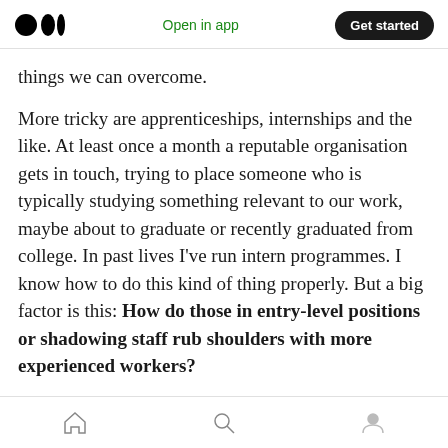Medium logo | Open in app | Get started
things we can overcome.
More tricky are apprenticeships, internships and the like. At least once a month a reputable organisation gets in touch, trying to place someone who is typically studying something relevant to our work, maybe about to graduate or recently graduated from college. In past lives I've run intern programmes. I know how to do this kind of thing properly. But a big factor is this: How do those in entry-level positions or shadowing staff rub shoulders with more experienced workers?
Home | Search | Profile